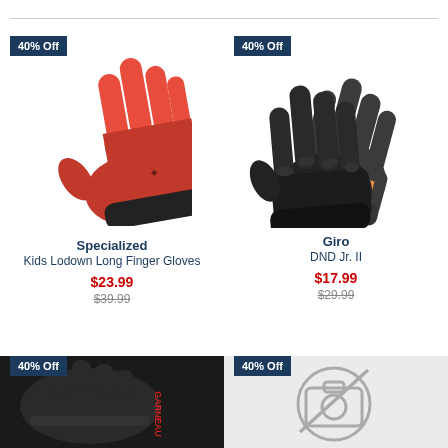[Figure (photo): Red Specialized Kids Lodown Long Finger Glove with black cuff, product photo on white background]
[Figure (photo): Black Giro DND Jr. II cycling gloves, pair shown from top, product photo on white background]
40% Off
Specialized
Kids Lodown Long Finger Gloves
$23.99
$39.99
40% Off
Giro
DND Jr. II
$17.99
$29.99
[Figure (photo): Black Garneau cycling gloves (fingerless), product photo]
[Figure (photo): No image placeholder icon (camera with slash through it) on light gray background]
40% Off
40% Off